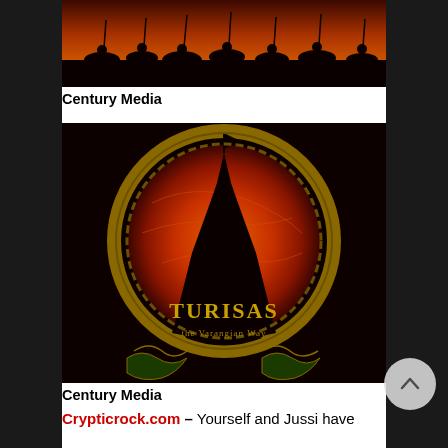[Figure (photo): Dark silhouette image showing warriors or riders against a fiery orange-red sky background, partially cropped at top]
Century Media
[Figure (photo): Album cover art for Turisas - The Varangian Way: a black Viking ship silhouette against a large orange-red globe, with ornate golden Celtic-style border and decorative waves at the bottom. Text reads 'Turisas the Varangian Way']
Century Media
Crypticrock.com – Yourself and Jussi have